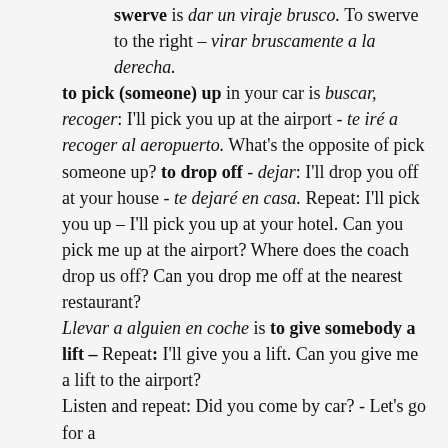swerve is dar un viraje brusco. To swerve to the right – virar bruscamente a la derecha. to pick (someone) up in your car is buscar, recoger: I'll pick you up at the airport - te iré a recoger al aeropuerto. What's the opposite of pick someone up? to drop off - dejar: I'll drop you off at your house - te dejaré en casa. Repeat: I'll pick you up – I'll pick you up at your hotel. Can you pick me up at the airport? Where does the coach drop us off? Can you drop me off at the nearest restaurant? Llevar a alguien en coche is to give somebody a lift – Repeat: I'll give you a lift. Can you give me a lift to the airport? Listen and repeat: Did you come by car? - Let's go for a